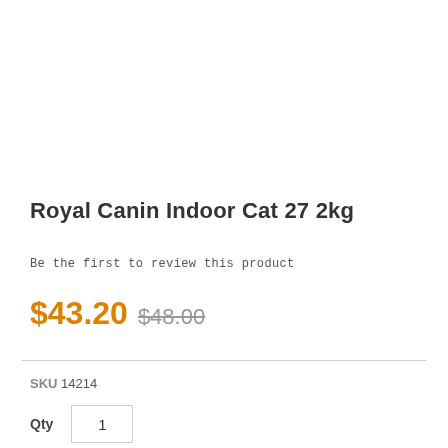Royal Canin Indoor Cat 27 2kg
Be the first to review this product
$43.20 $48.00
SKU 14214
Qty 1